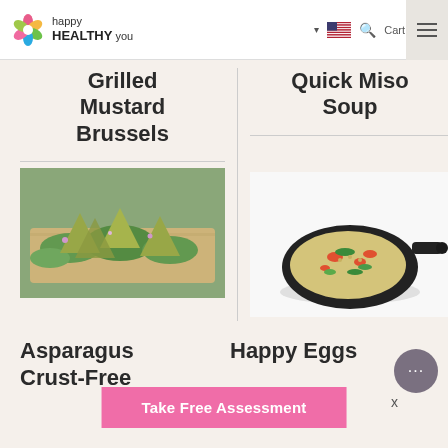happy HEALTHY you — navigation header with logo, flag, search, cart, hamburger menu
Grilled Mustard Brussels
Quick Miso Soup
[Figure (photo): Photo of grilled mustard Brussels sprouts on a wooden board with greens and purple flowers]
[Figure (photo): Photo of a cast iron skillet containing colorful grain/miso soup with red peppers and herbs]
Asparagus Crust-Free
Happy Eggs
Take Free Assessment
X